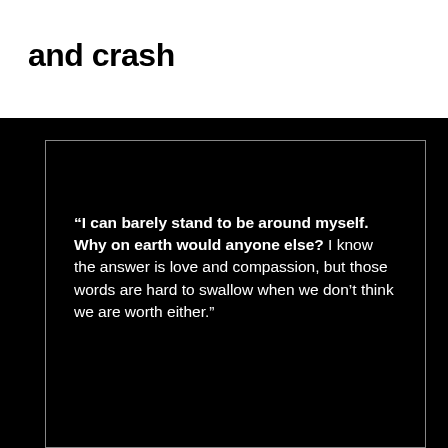and crash
[Figure (illustration): Black background box with a white-bordered inner rectangle containing a quote in white text: bold portion reads '“I can barely stand to be around myself. Why on earth would anyone else?' followed by regular weight text 'I know the answer is love and compassion, but those words are hard to swallow when we don’t think we are worth either.”']